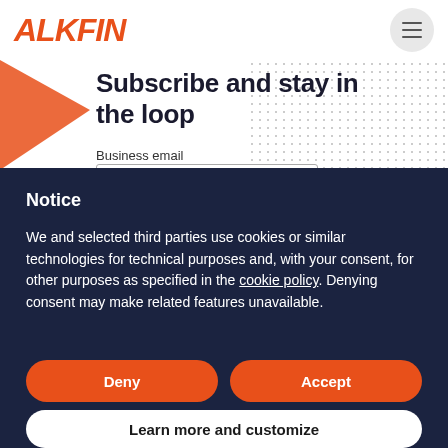ALKFIN
Subscribe and stay in the loop
Business email
Notice
We and selected third parties use cookies or similar technologies for technical purposes and, with your consent, for other purposes as specified in the cookie policy. Denying consent may make related features unavailable.
Deny
Accept
Learn more and customize